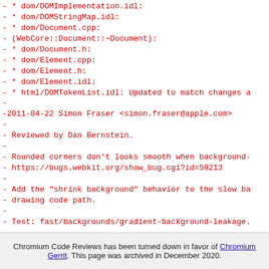- * dom/DOMImplementation.idl:
- * dom/DOMStringMap.idl:
- * dom/Document.cpp:
- (WebCore::Document::~Document):
- * dom/Document.h:
- * dom/Element.cpp:
- * dom/Element.h:
- * dom/Element.idl:
- * html/DOMTokenList.idl: Updated to match changes a
-
-2011-04-22  Simon Fraser  <simon.fraser@apple.com>
-
-        Reviewed by Dan Bernstein.
-
-        Rounded corners don't looks smooth when background-
-        https://bugs.webkit.org/show_bug.cgi?id=59213
-
-        Add the "shrink background" behavior to the slow ba
-        drawing code path.
-
-        Test: fast/backgrounds/gradient-background-leakage.
-
-        * rendering/RenderBoxModelObject.cpp:
-        (WebCore::backgroundRectAdjustedForBleedAvoidance):
-        Utility function that returns a shrunk border rect
-        on the context scale.
-        (WebCore::RenderBoxModelObject::paintFillLayerExten
-        Use backgroundRectAdjustedForBleedAvoidance() in b
Chromium Code Reviews has been turned down in favor of Chromium Gerrit. This page was archived in December 2020.